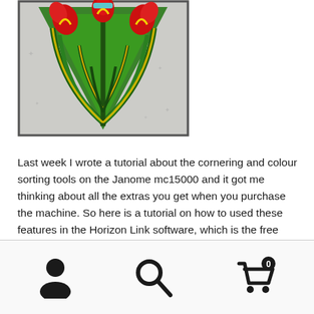[Figure (photo): Embroidery design photo showing a triangular pattern with red tulip-like flowers at the top and green leaf/stem designs, yellow accents, on a light grey background with star-like texture.]
Last week I wrote a tutorial about the cornering and colour sorting tools on the Janome mc15000 and it got me thinking about all the extras you get when you purchase the machine. So here is a tutorial on how to used these features in the Horizon Link software, which is the free software that comes with your machine. I have also included how to transfer the design from the horizon link software to your embroidery machine via WiFi. Happy Stitching
Navigation footer with user profile icon, search icon, and shopping cart icon with badge showing 0